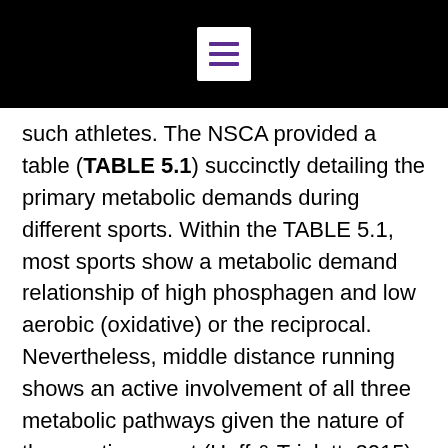[Menu icon]
such athletes. The NSCA provided a table (TABLE 5.1) succinctly detailing the primary metabolic demands during different sports. Within the TABLE 5.1, most sports show a metabolic demand relationship of high phosphagen and low aerobic (oxidative) or the reciprocal. Nevertheless, middle distance running shows an active involvement of all three metabolic pathways given the nature of the sporting event (Haff & Triplett, 2015). The phosphocreatine (ATP-PCr) and the glycolytic (glycolysis) encompass anaerobic metabolism, while the oxidation phosphorylation reflects aerobic metabolism. ATP-PCr is the simplest energy system (Kenny, Wilmore,